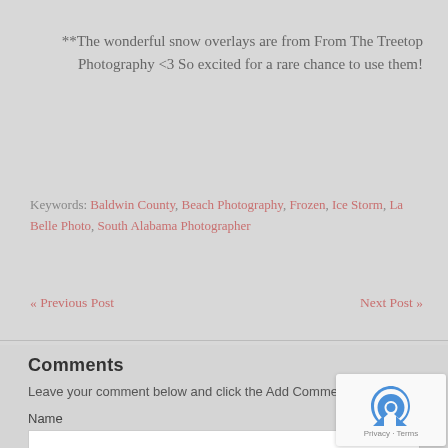**The wonderful snow overlays are from From The Treetop Photography <3 So excited for a rare chance to use them!
Keywords: Baldwin County, Beach Photography, Frozen, Ice Storm, La Belle Photo, South Alabama Photographer
« Previous Post    Next Post »
Comments
Leave your comment below and click the Add Comment button
Name